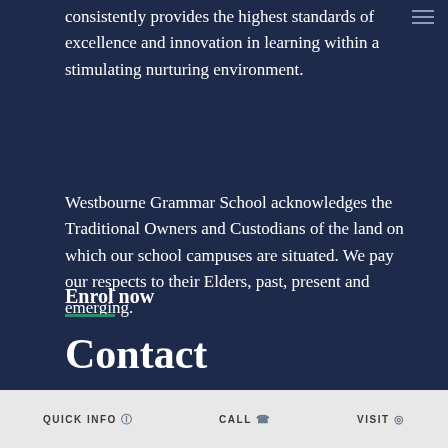consistently provides the highest standards of excellence and innovation in learning within a stimulating nurturing environment.
Westbourne Grammar School acknowledges the Traditional Owners and Custodians of the land on which our school campuses are situated. We pay our respects to their Elders, past, present and emerging.
Enrol now
Contact
QUICK INFO   CALL   VISIT